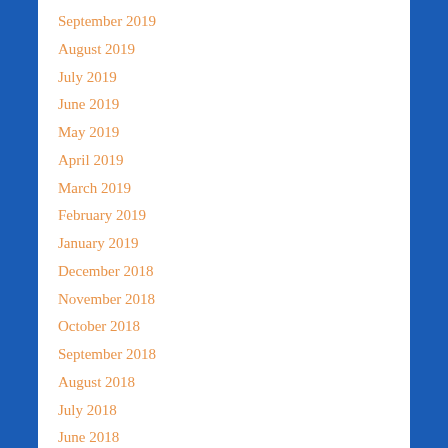September 2019
August 2019
July 2019
June 2019
May 2019
April 2019
March 2019
February 2019
January 2019
December 2018
November 2018
October 2018
September 2018
August 2018
July 2018
June 2018
May 2018
April 2018